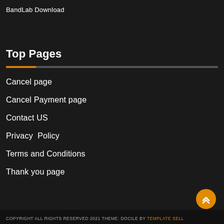BandLab Download
Top Pages
Cancel page
Cancel Payment page
Contact US
Privacy Policy
Terms and Conditions
Thank you page
COPYRIGHT ALL RIGHTS RESERVED 2021 THEME: DOCILE BY TEMPLATE SELL